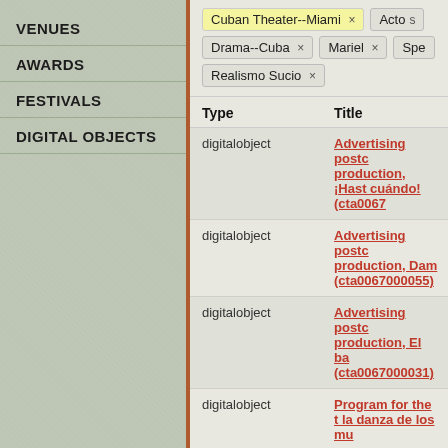VENUES
AWARDS
FESTIVALS
DIGITAL OBJECTS
Cuban Theater--Miami ×
Actos
Drama--Cuba ×
Mariel ×
Spe
Realismo Sucio ×
| Type | Title |
| --- | --- |
| digitalobject | Advertising postc production, ¡Hast cuándo! (cta0067 |
| digitalobject | Advertising postc production, Dam (cta0067000055) |
| digitalobject | Advertising postc production, El ba (cta0067000031) |
| digitalobject | Program for the t la danza de los mu |
| digitalobject | Advertising postc Internacional de T |